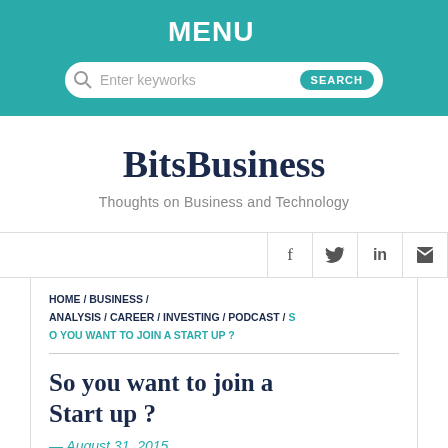MENU
Enter keyworks
BitsBusiness
Thoughts on Business and Technology
f  t  in  rss
HOME / BUSINESS / ANALYSIS / CAREER / INVESTING / PODCAST / SO YOU WANT TO JOIN A START UP ?
So you want to join a Start up ?
— August 31, 2015